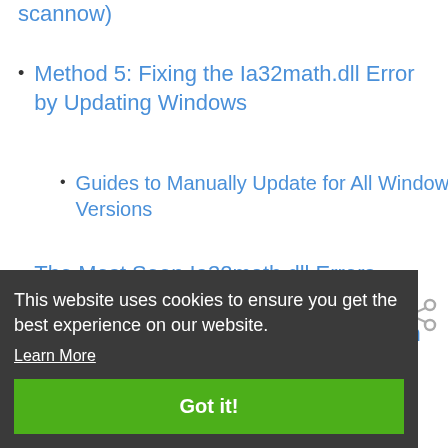scannow)
Method 5: Fixing the Ia32math.dll Error by Updating Windows
Guides to Manually Update for All Windows Versions
The Most Seen Ia32math.dll Errors
Other Dynamic Link Libraries Used with Ia32math.dll
This website uses cookies to ensure you get the best experience on our website.
Learn More
Got it!